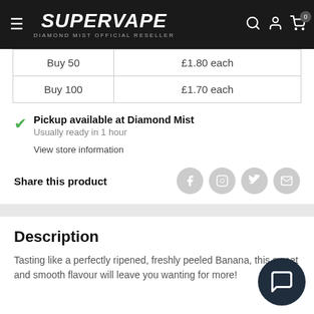SUPERVAPE — DIAMOND MIST OFFICIAL RESELLER
| Buy 50 | £1.80 each |
| Buy 100 | £1.70 each |
Pickup available at Diamond Mist
Usually ready in 1 hour
View store information
Share this product
Description
Tasting like a perfectly ripened, freshly peeled Banana, this sweet and smooth flavour will leave you wanting for more!